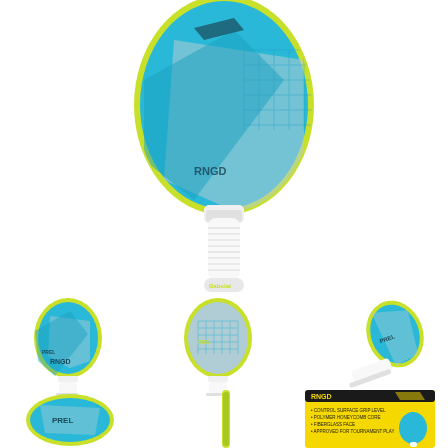[Figure (photo): Large main product photo of a Babolat RNGD pickleball paddle, blue and yellow-green color scheme with white grip handle, shown face-on from the front.]
[Figure (photo): Small thumbnail of the same Babolat RNGD pickleball paddle, slight angle showing front face.]
[Figure (photo): Small thumbnail of the Babolat RNGD pickleball paddle showing reverse/back side with yellow-green accent at top.]
[Figure (photo): Small thumbnail of the Babolat RNGD pickleball paddle shown at an angle from the side.]
[Figure (photo): Small thumbnail of the Babolat RNGD paddle head/face close-up from the front.]
[Figure (photo): Small thumbnail of the paddle handle/grip shown vertically.]
[Figure (photo): Small thumbnail of the Babolat RNGD product packaging box, yellow with branding and text.]